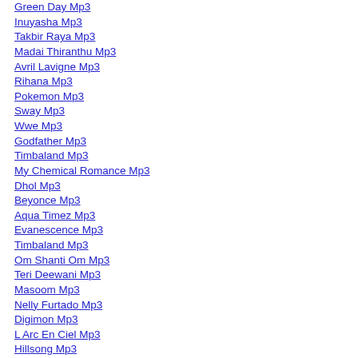Green Day Mp3
Inuyasha Mp3
Takbir Raya Mp3
Madai Thiranthu Mp3
Avril Lavigne Mp3
Rihana Mp3
Pokemon Mp3
Sway Mp3
Wwe Mp3
Godfather Mp3
Timbaland Mp3
My Chemical Romance Mp3
Dhol Mp3
Beyonce Mp3
Aqua Timez Mp3
Evanescence Mp3
Timbaland Mp3
Om Shanti Om Mp3
Teri Deewani Mp3
Masoom Mp3
Nelly Furtado Mp3
Digimon Mp3
L Arc En Ciel Mp3
Hillsong Mp3
Happy Birthday Mp3
Wwe Mp3